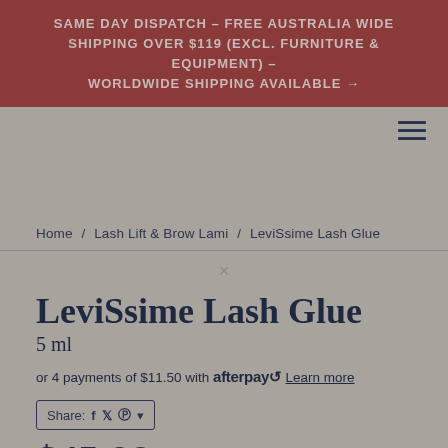SAME DAY DISPATCH - FREE AUSTRALIA WIDE SHIPPING OVER $119 (EXCL. FURNITURE & EQUIPMENT) - WORLDWIDE SHIPPING AVAILABLE →
Home / Lash Lift & Brow Lami / LeviSsime Lash Glue
LeviSsime Lash Glue
5 ml
or 4 payments of $11.50 with afterpay Learn more
Share:
$45.99